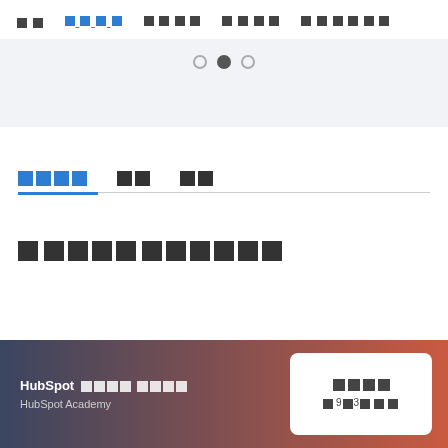[nav bar with menu items including active item]
[Figure (screenshot): Slider/carousel area with pagination dots (3 dots, middle filled)]
[Tab row with icon tabs and underline indicator]
[main title text in Korean/CJK characters]
HubSpot [CJK] HubSpot Academy — [card with CJK text and label: 9x3x]